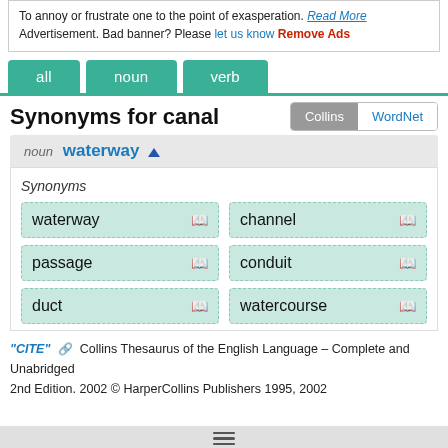To annoy or frustrate one to the point of exasperation. Read More
Advertisement. Bad banner? Please let us know Remove Ads
all
noun
verb
Synonyms for canal
noun waterway ▲
Synonyms
waterway
channel
passage
conduit
duct
watercourse
"CITE" Collins Thesaurus of the English Language – Complete and Unabridged 2nd Edition. 2002 © HarperCollins Publishers 1995, 2002